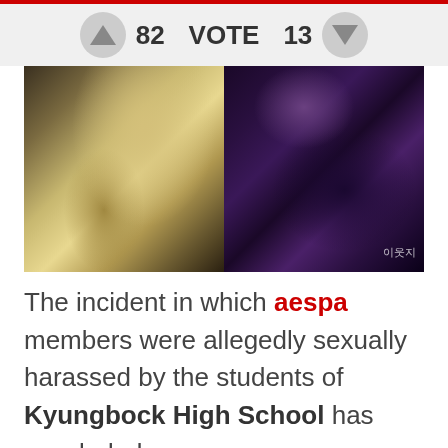[Figure (other): Vote bar UI with up arrow button, count 82, VOTE label, count 13, and down arrow button on gray background]
[Figure (photo): Two K-pop female celebrities side by side. Left person has long blonde hair wearing a black leather outfit. Right person has purple-tinted dark hair wearing a black outfit with striped sleeve accessory. Korean watermark visible in lower right.]
The incident in which aespa members were allegedly sexually harassed by the students of Kyungbock High School has concluded.